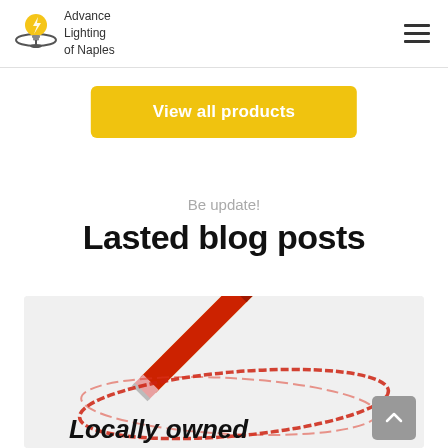Advance Lighting of Naples
View all products
Be update!
Lasted blog posts
[Figure (photo): A red pencil drawing a circle on white paper, with the text 'Locally owned' written below the circle]
Locally owned